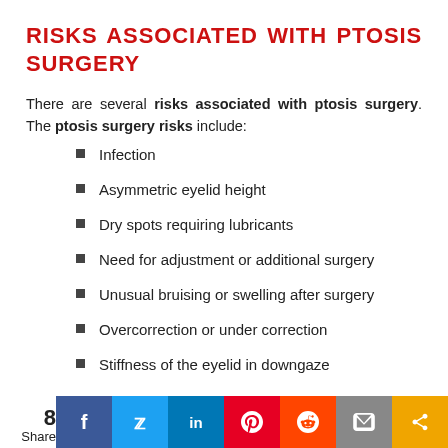RISKS ASSOCIATED WITH PTOSIS SURGERY
There are several risks associated with ptosis surgery. The ptosis surgery risks include:
Infection
Asymmetric eyelid height
Dry spots requiring lubricants
Need for adjustment or additional surgery
Unusual bruising or swelling after surgery
Overcorrection or under correction
Stiffness of the eyelid in downgaze
8 Share [social media icons: Facebook, Twitter, LinkedIn, Pinterest, Reddit, Email, Share]